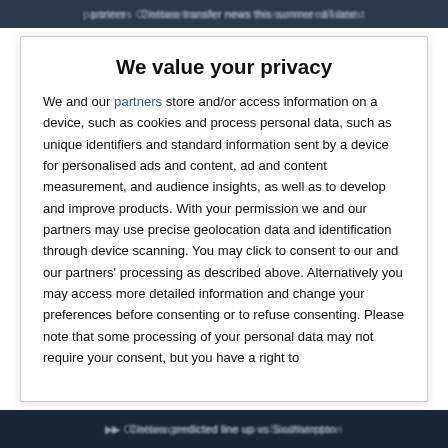partners  Chelsea transfer news this summer all latest
We value your privacy
We and our partners store and/or access information on a device, such as cookies and process personal data, such as unique identifiers and standard information sent by a device for personalised ads and content, ad and content measurement, and audience insights, as well as to develop and improve products. With your permission we and our partners may use precise geolocation data and identification through device scanning. You may click to consent to our and our partners' processing as described above. Alternatively you may access more detailed information and change your preferences before consenting or to refuse consenting. Please note that some processing of your personal data may not require your consent, but you have a right to
AGREE
MORE OPTIONS
Chelsea predicted line up vs Southampton